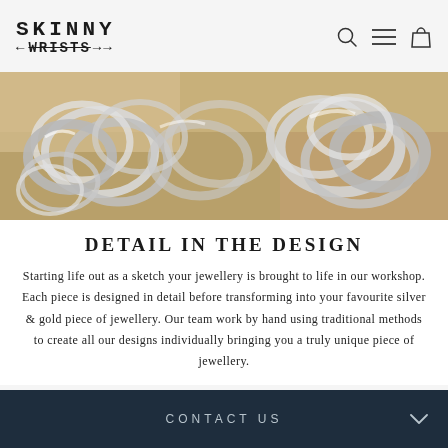[Figure (logo): Skinny Wrists logo with handwritten/typewriter style font and decorative arrows]
[Figure (photo): Close-up photo of multiple silver rings and wire coils on a warm golden/tan surface]
DETAIL IN THE DESIGN
Starting life out as a sketch your jewellery is brought to life in our workshop. Each piece is designed in detail before transforming into your favourite silver & gold piece of jewellery. Our team work by hand using traditional methods to create all our designs individually bringing you a truly unique piece of jewellery.
CONTACT US